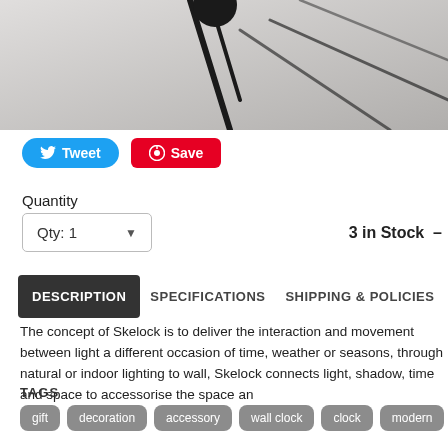[Figure (photo): Close-up product photo of a Skelock wall clock with dark metal skeleton frame against light background]
Tweet
Save
Quantity
Qty: 1
3 in Stock –
DESCRIPTION
SPECIFICATIONS
SHIPPING & POLICIES
The concept of Skelock is to deliver the interaction and movement between light a different occasion of time, weather or seasons, through natural or indoor lighting to wall, Skelock connects light, shadow, time and space to accessorise the space an
TAGS
gift
decoration
accessory
wall clock
clock
modern